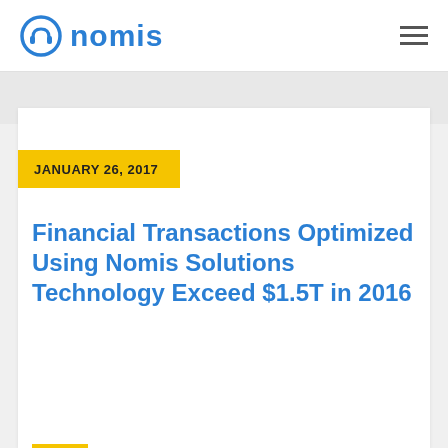nomis
JANUARY 26, 2017
Financial Transactions Optimized Using Nomis Solutions Technology Exceed $1.5T in 2016
Nomis Solutions today announced another year of market-leading growth for the company's pricing